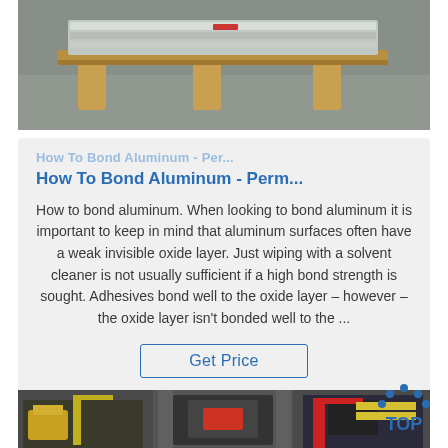[Figure (photo): Aluminum bars or extrusions on a wooden pallet on a concrete surface, viewed from the front]
How To Bond Aluminum - Perm...
How to bond aluminum. When looking to bond aluminum it is important to keep in mind that aluminum surfaces often have a weak invisible oxide layer. Just wiping with a solvent cleaner is not usually sufficient if a high bond strength is sought. Adhesives bond well to the oxide layer – however – the oxide layer isn't bonded well to the ...
Get Price
[Figure (photo): Industrial machinery including a forklift and large press or rolling machine in a factory setting]